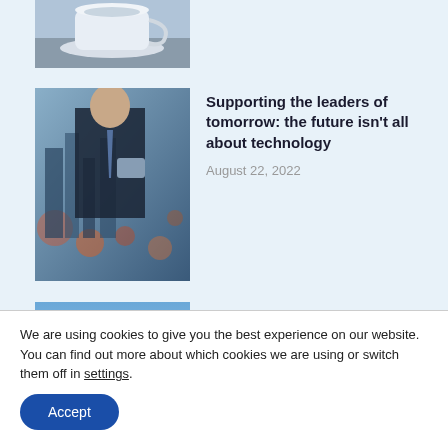[Figure (photo): Partial image of a white teacup and saucer on a table, cropped at top]
[Figure (photo): Businessperson in suit with city skyline double-exposure, holding a phone]
Supporting the leaders of tomorrow: the future isn't all about technology
August 22, 2022
[Figure (photo): Wembley stadium arch visible against a blue sky, partially cropped]
WHSmith, Coronation Street, and the FA Cup Final: what happened to Credit Solicitors?
We are using cookies to give you the best experience on our website.
You can find out more about which cookies we are using or switch them off in settings.